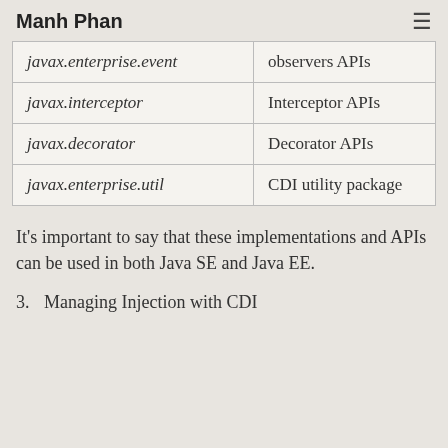Manh Phan
| javax.enterprise.event | observers APIs |
| javax.interceptor | Interceptor APIs |
| javax.decorator | Decorator APIs |
| javax.enterprise.util | CDI utility package |
It's important to say that these implementations and APIs can be used in both Java SE and Java EE.
3.  Managing Injection with CDI